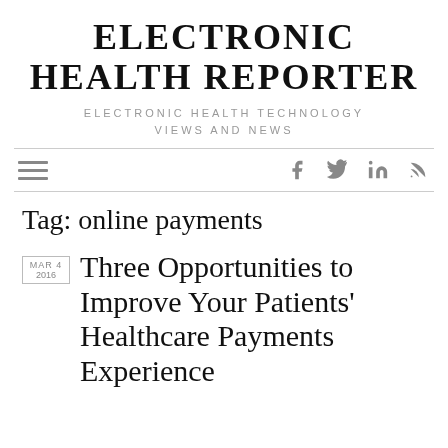ELECTRONIC HEALTH REPORTER
ELECTRONIC HEALTH TECHNOLOGY VIEWS AND NEWS
Tag: online payments
Three Opportunities to Improve Your Patients' Healthcare Payments Experience
MAR 4 2016